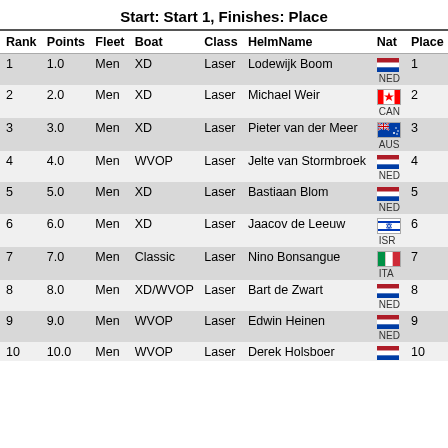Start: Start 1, Finishes: Place
| Rank | Points | Fleet | Boat | Class | HelmName | Nat | Place |
| --- | --- | --- | --- | --- | --- | --- | --- |
| 1 | 1.0 | Men | XD | Laser | Lodewijk Boom | NED | 1 |
| 2 | 2.0 | Men | XD | Laser | Michael Weir | CAN | 2 |
| 3 | 3.0 | Men | XD | Laser | Pieter van der Meer | AUS | 3 |
| 4 | 4.0 | Men | WVOP | Laser | Jelte van Stormbroek | NED | 4 |
| 5 | 5.0 | Men | XD | Laser | Bastiaan Blom | NED | 5 |
| 6 | 6.0 | Men | XD | Laser | Jaacov de Leeuw | ISR | 6 |
| 7 | 7.0 | Men | Classic | Laser | Nino Bonsangue | ITA | 7 |
| 8 | 8.0 | Men | XD/WVOP | Laser | Bart de Zwart | NED | 8 |
| 9 | 9.0 | Men | WVOP | Laser | Edwin Heinen | NED | 9 |
| 10 | 10.0 | Men | WVOP | Laser | Derek Holsboer | NED | 10 |